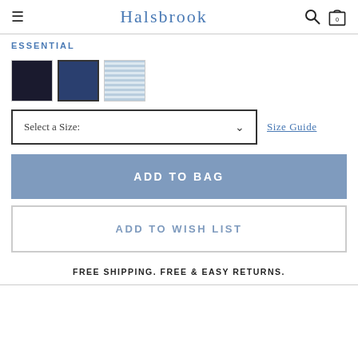Halsbrook
ESSENTIAL
[Figure (illustration): Three fabric color swatches: black, navy (selected, with border), and light blue stripe]
Select a Size:
Size Guide
ADD TO BAG
ADD TO WISH LIST
FREE SHIPPING. FREE & EASY RETURNS.